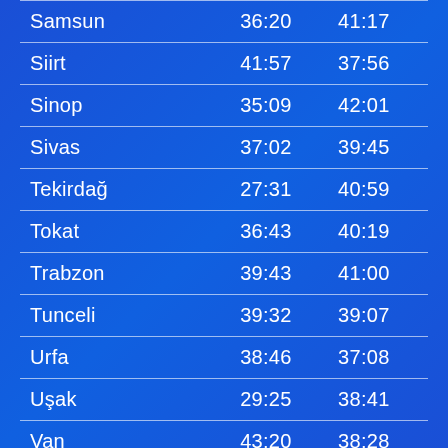| Samsun | 36:20 | 41:17 |
| Siirt | 41:57 | 37:56 |
| Sinop | 35:09 | 42:01 |
| Sivas | 37:02 | 39:45 |
| Tekirdağ | 27:31 | 40:59 |
| Tokat | 36:43 | 40:19 |
| Trabzon | 39:43 | 41:00 |
| Tunceli | 39:32 | 39:07 |
| Urfa | 38:46 | 37:08 |
| Uşak | 29:25 | 38:41 |
| Van | 43:20 | 38:28 |